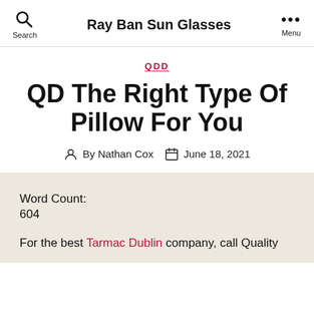Ray Ban Sun Glasses
QDD
QD The Right Type Of Pillow For You
By Nathan Cox   June 18, 2021
Word Count:
604
For the best Tarmac Dublin company, call Quality